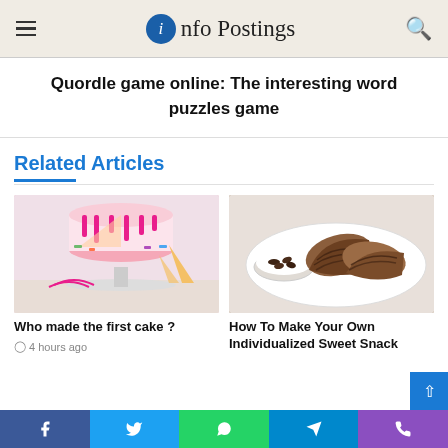Info Postings
Quordle game online: The interesting word puzzles game
Related Articles
[Figure (photo): A pink drip cake on a white cake stand with waffle cones, sprinkles, and baking items in background]
Who made the first cake ?
4 hours ago
[Figure (photo): Sliced swirled bread loaf on a white plate with a small bowl of chocolate chips]
How To Make Your Own Individualized Sweet Snack